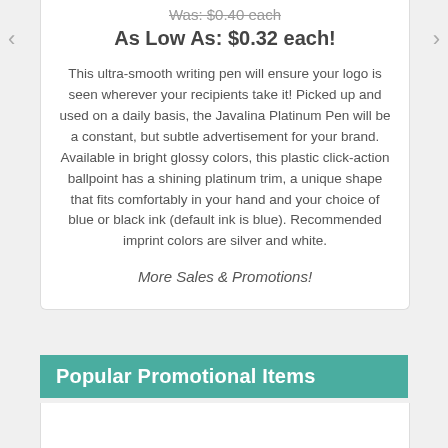Was: $0.40 each
As Low As: $0.32 each!
This ultra-smooth writing pen will ensure your logo is seen wherever your recipients take it! Picked up and used on a daily basis, the Javalina Platinum Pen will be a constant, but subtle advertisement for your brand. Available in bright glossy colors, this plastic click-action ballpoint has a shining platinum trim, a unique shape that fits comfortably in your hand and your choice of blue or black ink (default ink is blue). Recommended imprint colors are silver and white.
More Sales & Promotions!
Popular Promotional Items